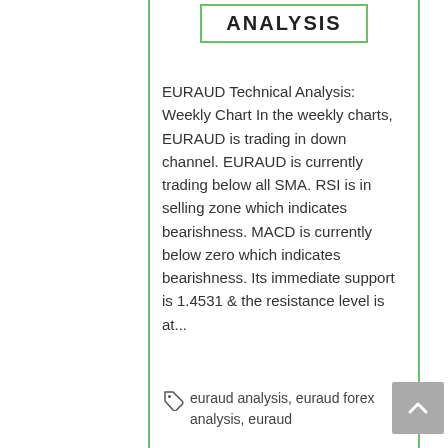ANALYSIS
EURAUD Technical Analysis: Weekly Chart In the weekly charts, EURAUD is trading in down channel. EURAUD is currently trading below all SMA. RSI is in selling zone which indicates bearishness. MACD is currently below zero which indicates bearishness. Its immediate support is 1.4531 & the resistance level is at...
euraud analysis, euraud forex analysis, euraud